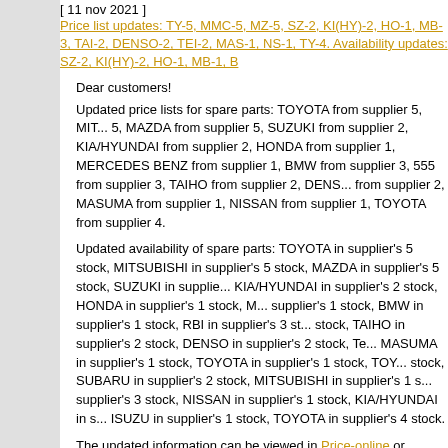[ 11 nov 2021 ]
Price list updates: TY-5, MMC-5, MZ-5, SZ-2, KI(HY)-2, HO-1, MB-3, TAI-2, DENSO-2, TEI-2, MAS-1, NS-1, TY-4. Availability updates: SZ-2, KI(HY)-2, HO-1, MB-1, B
Dear customers!
Updated price lists for spare parts: TOYOTA from supplier 5, MITSUBISHI from supplier 5, MAZDA from supplier 5, SUZUKI from supplier 2, KIA/HYUNDAI from supplier 2, HONDA from supplier 1, MERCEDES BENZ from supplier 1, BMW from supplier 3, 555 from supplier 3, TAIHO from supplier 2, DENSO from supplier 2, MASUMA from supplier 1, NISSAN from supplier 1, TOYOTA from supplier 4.
Updated availability of spare parts: TOYOTA in supplier's 5 stock, MITSUBISHI in supplier's 5 stock, MAZDA in supplier's 5 stock, SUZUKI in supplier's 2 stock, KIA/HYUNDAI in supplier's 2 stock, HONDA in supplier's 1 stock, MERCEDES BENZ in supplier's 1 stock, BMW in supplier's 1 stock, RBI in supplier's 3 stock, TAIHO in supplier's 2 stock, DENSO in supplier's 2 stock, TEI in supplier's 2 stock, MASUMA in supplier's 1 stock, TOYOTA in supplier's 1 stock, TOYOTA in supplier's 1 stock, SUBARU in supplier's 2 stock, MITSUBISHI in supplier's 1 stock, RBI in supplier's 3 stock, NISSAN in supplier's 1 stock, KIA/HYUNDAI in supplier's 2 stock, ISUZU in supplier's 1 stock, TOYOTA in supplier's 4 stock.
The updated information can be viewed in Price-online or download...
[ 13 nov 2021 ]
Price list updates: SU-3, TY-3, MMC-4, MZ-2, MZ-4, NS-4, HO-2, A... 1, TY-2, SU-3, TY-3, MMC-4, MZ-1, MZ-2, MZ-4, NS-4, HO-2.